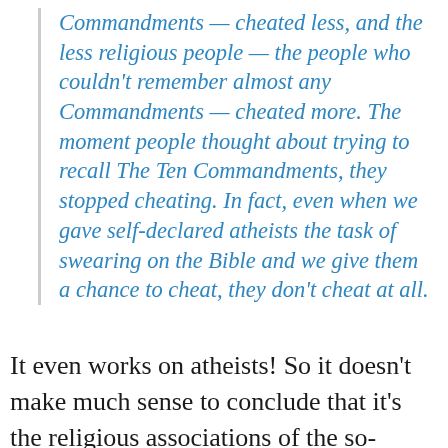Commandments — cheated less, and the less religious people — the people who couldn't remember almost any Commandments — cheated more. The moment people thought about trying to recall The Ten Commandments, they stopped cheating. In fact, even when we gave self-declared atheists the task of swearing on the Bible and we give them a chance to cheat, they don't cheat at all.
It even works on atheists! So it doesn't make much sense to conclude that it's the religious associations of the so-called Ten